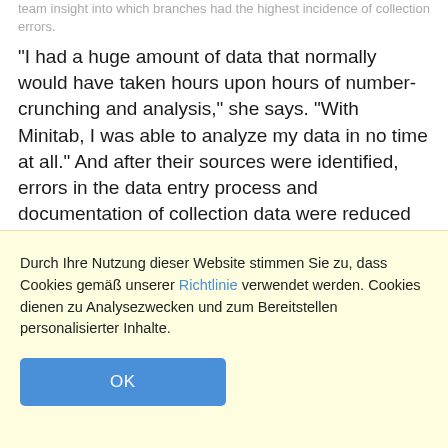team insight into which branches had the highest incidence of collection errors.
"I had a huge amount of data that normally would have taken hours upon hours of number-crunching and analysis," she says. "With Minitab, I was able to analyze my data in no time at all." And after their sources were identified, errors in the data entry process and documentation of collection data were reduced significantly.
[Figure (continuous-plot): Individual value plot showing data points at approximately y=9 and y=7.8, with y-axis labels 9 and 8 visible. Plot area has white background with beige outer area.]
Durch Ihre Nutzung dieser Website stimmen Sie zu, dass Cookies gemäß unserer Richtlinie verwendet werden. Cookies dienen zu Analysezwecken und zum Bereitstellen personalisierter Inhalte.
OK